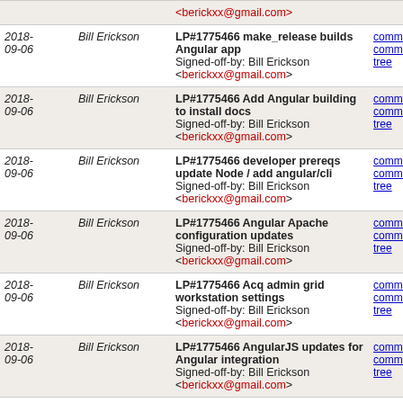| Date | Author | Message | Links |
| --- | --- | --- | --- |
| 2018-09-06 | Bill Erickson | LP#1775466 make_release builds Angular app
Signed-off-by: Bill Erickson <berickxx@gmail.com> | commit | commitdiff | tree |
| 2018-09-06 | Bill Erickson | LP#1775466 Add Angular building to install docs
Signed-off-by: Bill Erickson <berickxx@gmail.com> | commit | commitdiff | tree |
| 2018-09-06 | Bill Erickson | LP#1775466 developer prereqs update Node / add angular/cli
Signed-off-by: Bill Erickson <berickxx@gmail.com> | commit | commitdiff | tree |
| 2018-09-06 | Bill Erickson | LP#1775466 Angular Apache configuration updates
Signed-off-by: Bill Erickson <berickxx@gmail.com> | commit | commitdiff | tree |
| 2018-09-06 | Bill Erickson | LP#1775466 Acq admin grid workstation settings
Signed-off-by: Bill Erickson <berickxx@gmail.com> | commit | commitdiff | tree |
| 2018-09-06 | Bill Erickson | LP#1775466 AngularJS updates for Angular integration
Signed-off-by: Bill Erickson <berickxx@gmail.com> | commit | commitdiff | tree |
| 2018-09-06 | Bill Erickson | LP#1775466 Angular(6) base application
Signed-off-by: Bill Erickson <berickxx@gmail.com> | commit | commitdiff | tree |